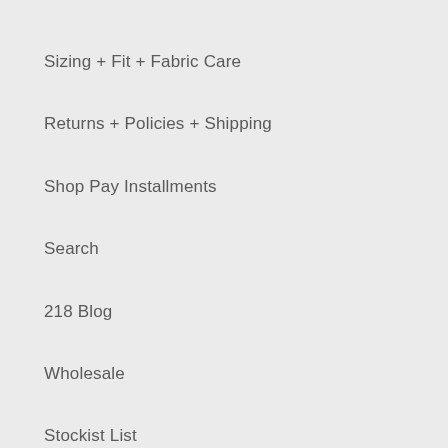Sizing + Fit + Fabric Care
Returns + Policies + Shipping
Shop Pay Installments
Search
218 Blog
Wholesale
Stockist List